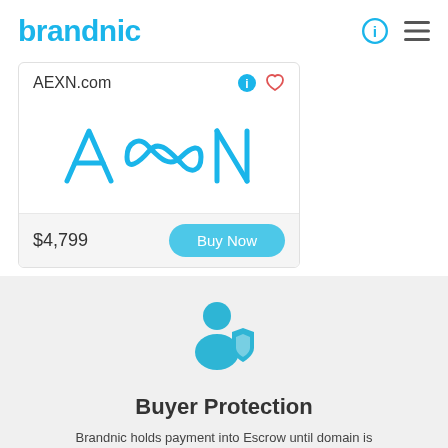brandnic
AEXN.com
[Figure (logo): AEXN brand logo in blue with stylized letter design]
$4,799
Buy Now
[Figure (illustration): Buyer protection icon: person silhouette with shield]
Buyer Protection
Brandnic holds payment into Escrow until domain is securely transferred.